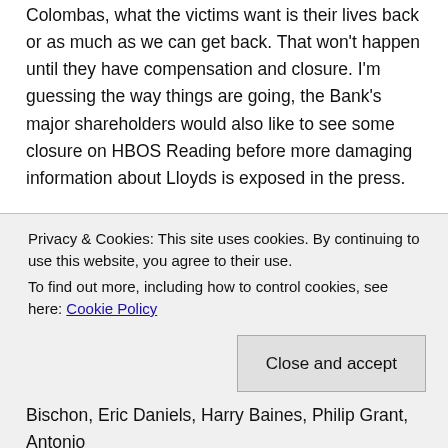Colombas, what the victims want is their lives back or as much as we can get back. That won't happen until they have compensation and closure. I'm guessing the way things are going, the Bank's major shareholders would also like to see some closure on HBOS Reading before more damaging information about Lloyds is exposed in the press.
It is possible much of what is happening now is designed to wear victims down so that if and when offers of compensation come, the victims will accept anything because they are just tired of fighting. That and the fact many victims are no longer spring chickens and don't have the time for another prolonged battle. Worse still – some have cancer or
Privacy & Cookies: This site uses cookies. By continuing to use this website, you agree to their use.
To find out more, including how to control cookies, see here: Cookie Policy
Close and accept
Bischon, Eric Daniels, Harry Baines, Philip Grant, Antonio